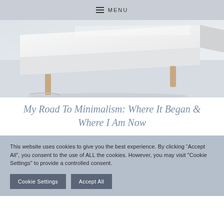MENU
[Figure (photo): Minimalist white furniture photo showing a white table or shelf with a wooden leg on a light background]
My Road To Minimalism: Where It Began & Where I Am Now
This website uses cookies to give you the best experience. By clicking “Accept All”, you consent to the use of ALL the cookies. However, you may visit "Cookie Settings" to provide a controlled consent.
Cookie Settings   Accept All